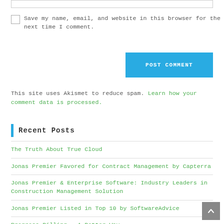[input field]
Save my name, email, and website in this browser for the next time I comment.
POST COMMENT
This site uses Akismet to reduce spam. Learn how your comment data is processed.
Recent Posts
The Truth About True Cloud
Jonas Premier Favored for Contract Management by Capterra
Jonas Premier & Enterprise Software: Industry Leaders in Construction Management Solution
Jonas Premier Listed in Top 10 by SoftwareAdvice
Progress Billing – A Better Way